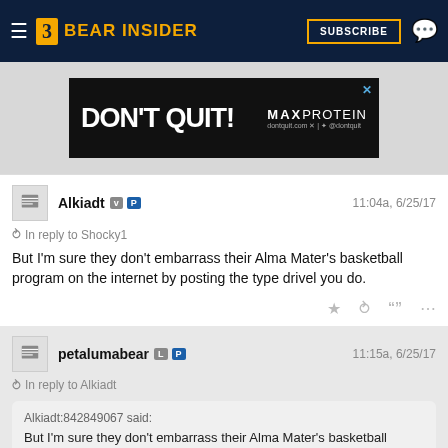Bear Insider — SUBSCRIBE
[Figure (other): DON'T QUIT! MAX PROTEIN advertisement banner]
Alkiadt v P  11:04a, 6/25/17
In reply to Shocky1
But I'm sure they don't embarrass their Alma Mater's basketball program on the internet by posting the type drivel you do.
petalumabear L P  11:15a, 6/25/17
In reply to Alkiadt
Alkiadt:842849067 said:
But I'm sure they don't embarrass their Alma Mater's basketball program on the internet by posting the type drivel you do.